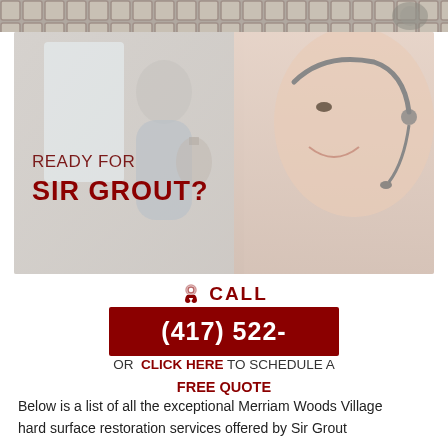[Figure (photo): Top strip showing tile/mosaic pattern with a showerhead]
[Figure (photo): Hero image showing a woman on the phone indoors and a close-up of a smiling woman with a headset, with overlay text 'READY FOR SIR GROUT?']
CALL
(417) 522-
OR CLICK HERE TO SCHEDULE A FREE QUOTE
Below is a list of all the exceptional Merriam Woods Village hard surface restoration services offered by Sir Grout